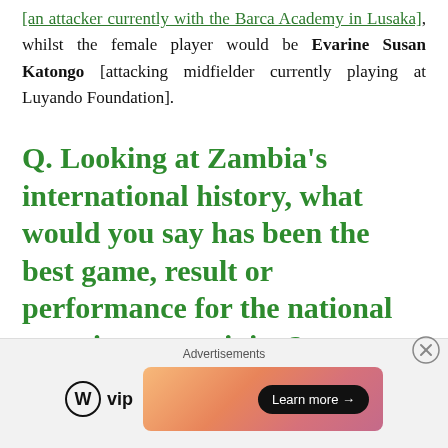[an attacker currently with the Barca Academy in Lusaka], whilst the female player would be Evarine Susan Katongo [attacking midfielder currently playing at Luyando Foundation].
Q. Looking at Zambia's international history, what would you say has been the best game, result or performance for the national team in your opinion?
Advertisements